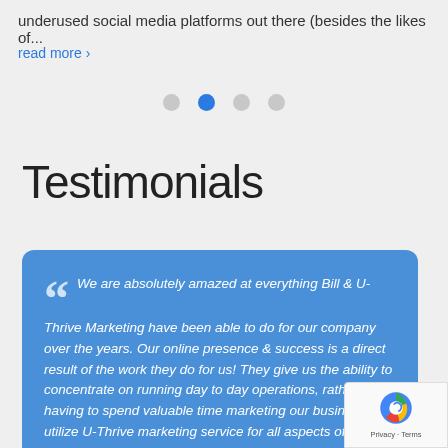underused social media platforms out there (besides the likes of...
read more ›
[Figure (other): Carousel navigation dots, second dot active (blue)]
Testimonials
We are absolutely amazed at everything Bill & U-Thrive Marketing have been able to do for our company over the years. Our online presence & success is a direct result of the work they do for us! They give us the ability to concentrate on running day to day operations, rather than having to spend valuable time marketing our business. We utilize U-Thrive marketing service for all aspects of our online marketing campaigns from pay per click advertising, SEO, Social Media & Graphic design. We would highly recommend U-Thrive